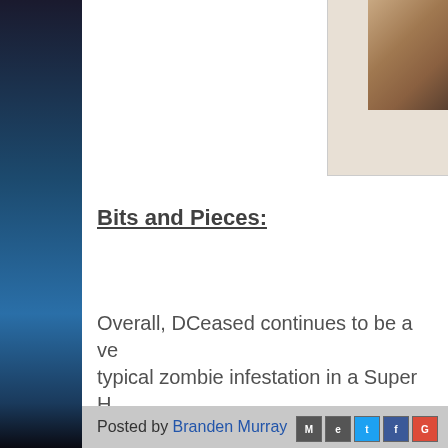Bits and Pieces:
Overall, DCeased continues to be a very typical zombie infestation in a Super H happen in this issue, very much in the forward, Black Canary's change for ex doesn't match my enthusiasm for the s the story at play. Definitely still worth a
Posted by Branden Murray